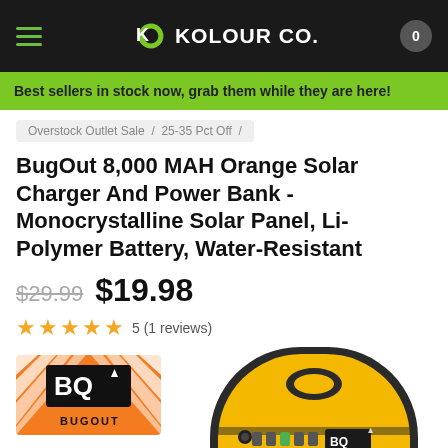KOLOUR CO.
Best sellers in stock now, grab them while they are here!
Overstock Outlet Sale / 25-35 Pct Off /
BugOut 8,000 MAH Orange Solar Charger And Power Bank - Monocrystalline Solar Panel, Li-Polymer Battery, Water-Resistant
$29.99  $19.98
5 (1 reviews)
[Figure (logo): BugOut brand logo with orange background, diagonal stripes and BQ with arrow icon]
[Figure (photo): Yellow and black solar charger power bank device with BugOut BQ logo, battery indicator lights, and solar panel on front, partially cropped]